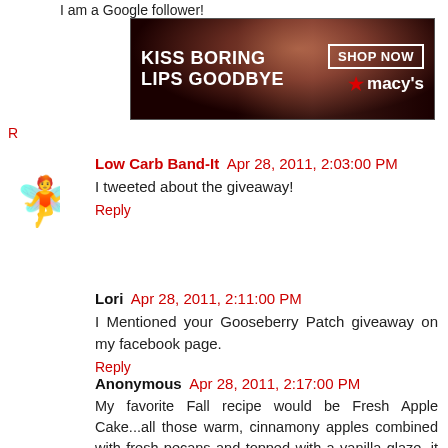I am a Google follower!
[Figure (photo): Macy's advertisement banner: 'KISS BORING LIPS GOODBYE' with red lipstick model image and 'SHOP NOW' button]
Low Carb Band-It  Apr 28, 2011, 2:03:00 PM
I tweeted about the giveaway!
Reply
Lori  Apr 28, 2011, 2:11:00 PM
I Mentioned your Gooseberry Patch giveaway on my facebook page.
Reply
Anonymous  Apr 28, 2011, 2:17:00 PM
My favorite Fall recipe would be Fresh Apple Cake...all those warm, cinnamony apples combined with fresh pecans and topped with a vanilla glaze, it doesn't get much better! sdolske@sbcglobal.net